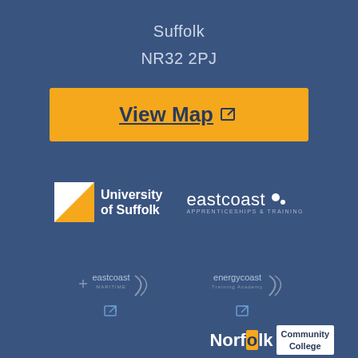Suffolk
NR32 2PJ
View Map ↗
[Figure (logo): University of Suffolk logo with white square and diagonal stripe]
[Figure (logo): Eastcoast Apprenticeships & Training logo with dots]
[Figure (logo): Eastcoast Maritime logo with arrow]
[Figure (logo): Energycoast Training Academy logo with arrow]
[Figure (logo): Norfolk Community College logo]